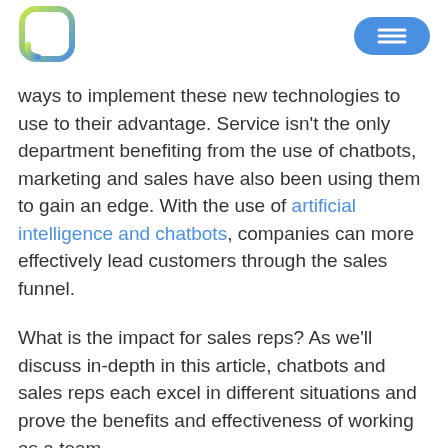[Logo] [Menu button]
ways to implement these new technologies to use to their advantage. Service isn't the only department benefiting from the use of chatbots, marketing and sales have also been using them to gain an edge. With the use of artificial intelligence and chatbots, companies can more effectively lead customers through the sales funnel.
What is the impact for sales reps? As we'll discuss in-depth in this article, chatbots and sales reps each excel in different situations and prove the benefits and effectiveness of working as a team.